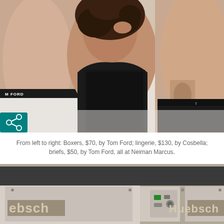[Figure (photo): Fashion/lingerie photo: three people on a white surface. Left: shirtless man wearing Tom Ford white boxers. Center: woman with curly hair wearing black lace lingerie top. Right: shirtless tattooed man wearing dark Tom Ford briefs. A share icon (teal) is visible bottom-left corner of the photo.]
From left to right: Boxers, $70, by Tom Ford; lingerie, $130, by Cosbella; briefs, $50, by Tom Ford, all at Neiman Marcus.
[Figure (photo): Photo of Huebsch branded commercial laundry machines (washers/dryers). Gray machines with control panels visible. 'Huebsch' logo text visible on machines.]